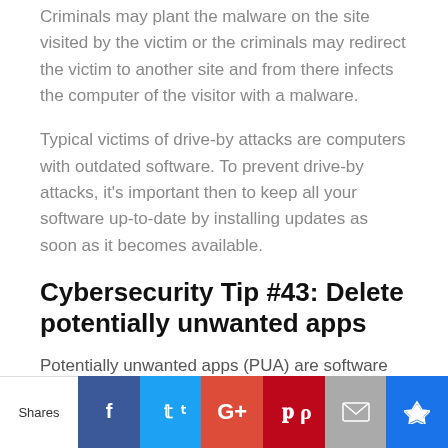Criminals may plant the malware on the site visited by the victim or the criminals may redirect the victim to another site and from there infects the computer of the visitor with a malware.
Typical victims of drive-by attacks are computers with outdated software. To prevent drive-by attacks, it's important then to keep all your software up-to-date by installing updates as soon as it becomes available.
Cybersecurity Tip #43: Delete potentially unwanted apps
Potentially unwanted apps (PUA) are software that you haven't intentionally downloaded. They're just downloaded along with an app that
[Figure (infographic): Social share bar with buttons: Shares label, Facebook (blue), Twitter (light blue), Google+ (red-orange), Pinterest (dark red), Mail (gray), Crown/bookmark (dark blue)]